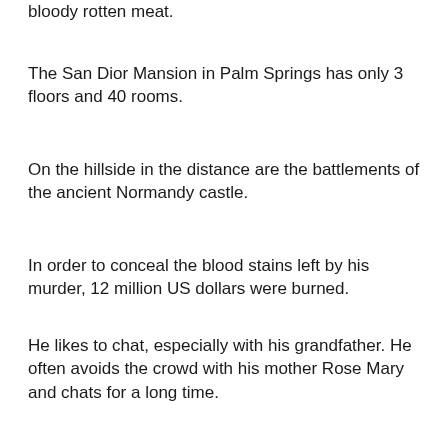bloody rotten meat.
The San Dior Mansion in Palm Springs has only 3 floors and 40 rooms.
On the hillside in the distance are the battlements of the ancient Normandy castle.
In order to conceal the blood stains left by his murder, 12 million US dollars were burned.
He likes to chat, especially with his grandfather. He often avoids the crowd with his mother Rose Mary and chats for a long time.
Endure starvation. To be able to contend with powerful enemies, the FARM Davis selenium vs erectile